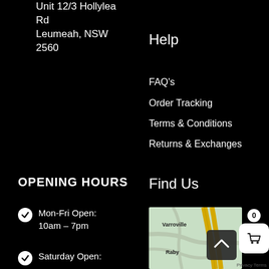Unit 12/3 Hollylea Rd
Leumeah, NSW 2560
Help
FAQ's
Order Tracking
Terms & Conditions
Returns & Exchanges
OPENING HOURS
Mon-Fri Open: 10am – 7pm
Saturday Open:
Find Us
[Figure (map): Map showing Varroville and Raby areas with road network]